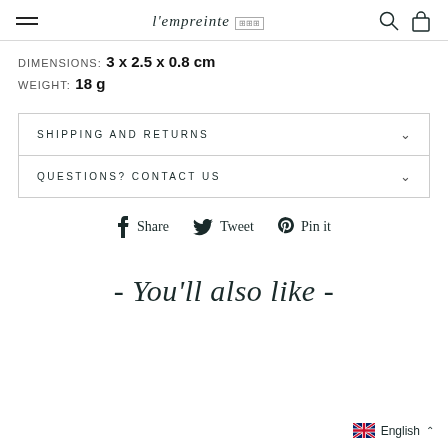l'empreinte — hamburger menu, search, bag icons
DIMENSIONS: 3 x 2.5 x 0.8 cm
WEIGHT: 18 g
SHIPPING AND RETURNS
QUESTIONS? CONTACT US
Share  Tweet  Pin it
- You'll also like -
English